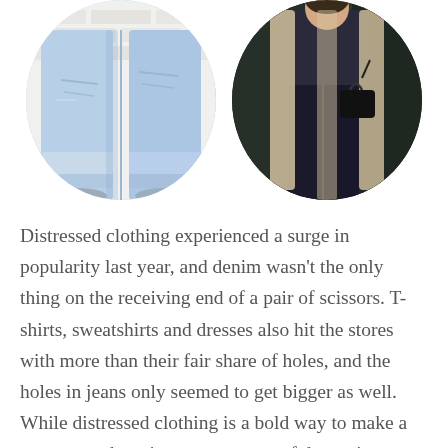[Figure (photo): Two circular cropped photos side by side. Left: close-up of light blue distressed/cuffed jeans against a white brick wall. Right: person wearing dark jeans and a long beige/cream cardigan, carrying a black handbag, against a dark green background.]
Distressed clothing experienced a surge in popularity last year, and denim wasn't the only thing on the receiving end of a pair of scissors. T-shirts, sweatshirts and dresses also hit the stores with more than their fair share of holes, and the holes in jeans only seemed to get bigger as well. While distressed clothing is a bold way to make a statement, the price tags on most of these pieces will likely leave you searching for your own scissors. This is one trend that is much easier to